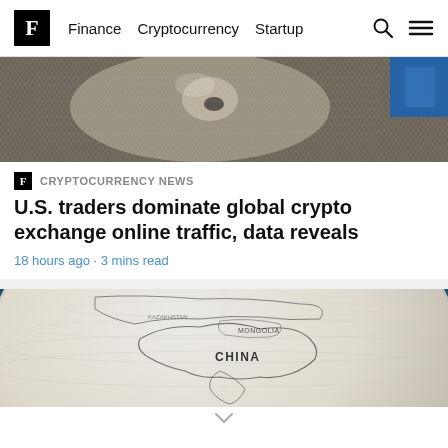F  Finance  Cryptocurrency  Startup
[Figure (photo): Close-up macro photo of US dollar bill engraving, showing portrait details with grey crosshatch texture, with blue element visible at right edge]
CRYPTOCURRENCY NEWS
U.S. traders dominate global crypto exchange online traffic, data reveals
18 hours ago · 3 mins read
[Figure (photo): Close-up photo of a globe showing Asia region with China label prominently visible, blue background, white/cream globe surface with outlined countries]